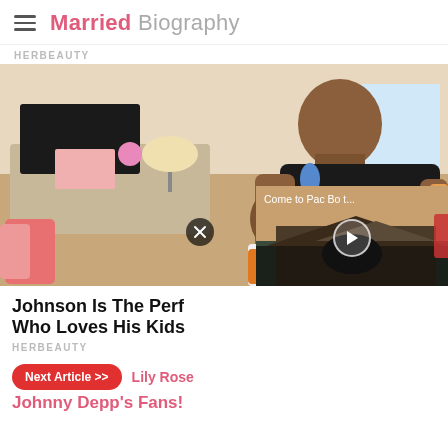Married Biography
HERBEAUTY
[Figure (photo): Large photo of a muscular bald man with tattoos brushing a young girl's hair in a children's bedroom. A video overlay panel in the bottom right shows 'Come to Pac Bo t...' with a play button, and a close button is visible.]
Johnson Is The Perfect Dad Who Loves His Kids
HERBEAUTY
Next Article >>
Lily Rose
Johnny Depp's Fans!